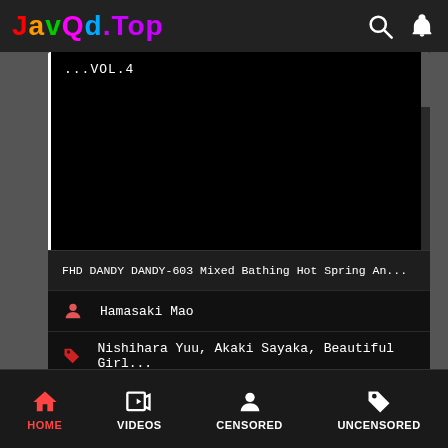JavQd.Top
[Figure (screenshot): Video thumbnail area showing dark/black screen with text ...VOL.4 in white monospace font, with a white vertical line on the left edge and scrollbar on the right]
FHD DANDY DANDY-603 Mixed Bathing Hot Spring An...
Hamasaki Mao
Nishihara Yuu, Akaki Sayaka, Beautiful Girl...
HOME   VIDEOS   CENSORED   UNCENSORED